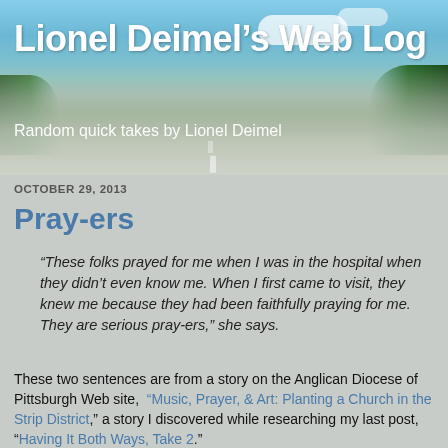[Figure (photo): Blog header banner showing a road stretching into the distance with blue sky, clouds, and green trees on the sides]
Lionel Deimel’s Web Log
Random quick takes by Lionel Deimel
OCTOBER 29, 2013
Pray-ers
“These folks prayed for me when I was in the hospital when they didn’t even know me. When I first came to visit, they knew me because they had been faithfully praying for me. They are serious pray-ers,” she says.
These two sentences are from a story on the Anglican Diocese of Pittsburgh Web site, “Music, Prayer, & Art: Planting a Church in the Strip District,” a story I discovered while researching my last post, “Having It Both Ways, Take 2.”